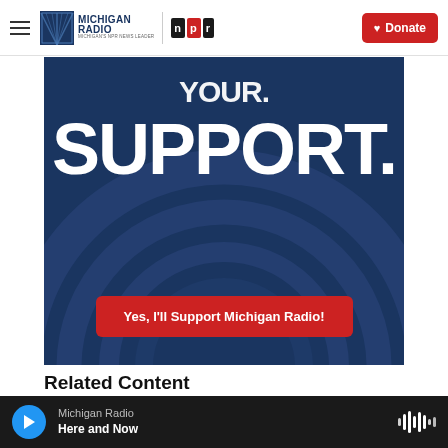Michigan Radio — NPR | Donate
[Figure (infographic): Dark navy blue banner with large white bold text reading 'YOUR SUPPORT.' and a red call-to-action button 'Yes, I'll Support Michigan Radio!']
Related Content
[Figure (photo): Partial thumbnail image for a related content article, dark toned image]
Michigan Radio — Here and Now (audio player bar)